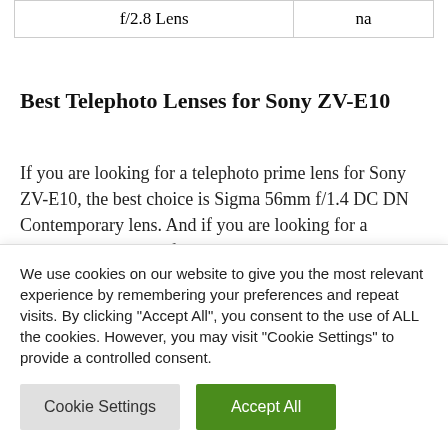| f/2.8 Lens | na |
Best Telephoto Lenses for Sony ZV-E10
If you are looking for a telephoto prime lens for Sony ZV-E10, the best choice is Sigma 56mm f/1.4 DC DN Contemporary lens. And if you are looking for a telephoto zoom lens for Sony ZV-E10, the Sony E 70-350mm f/4.5-6.3 G OSS
We use cookies on our website to give you the most relevant experience by remembering your preferences and repeat visits. By clicking "Accept All", you consent to the use of ALL the cookies. However, you may visit "Cookie Settings" to provide a controlled consent.